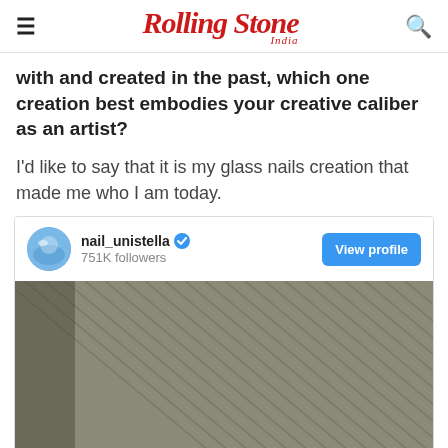Rolling Stone India
with and created in the past, which one creation best embodies your creative caliber as an artist?
I'd like to say that it is my glass nails creation that made me who I am today.
[Figure (screenshot): Instagram embed showing nail_unistella profile with 751K followers, View profile button, and a photo of fabric/denim texture]